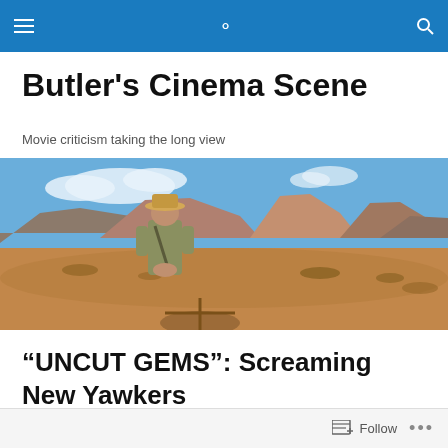Butler's Cinema Scene [navigation bar with hamburger menu and search icon]
Butler's Cinema Scene
Movie criticism taking the long view
[Figure (photo): A person wearing a hat and gray vest standing in front of Monument Valley landscape with red rock buttes and mesas under a blue sky]
“UNCUT GEMS”: Screaming New Yawkers
Follow ...